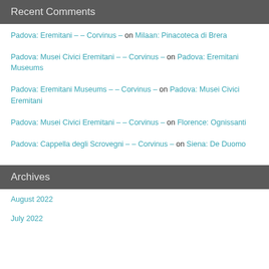Recent Comments
Padova: Eremitani – – Corvinus – on Milaan: Pinacoteca di Brera
Padova: Musei Civici Eremitani – – Corvinus – on Padova: Eremitani Museums
Padova: Eremitani Museums – – Corvinus – on Padova: Musei Civici Eremitani
Padova: Musei Civici Eremitani – – Corvinus – on Florence: Ognissanti
Padova: Cappella degli Scrovegni – – Corvinus – on Siena: De Duomo
Archives
August 2022
July 2022